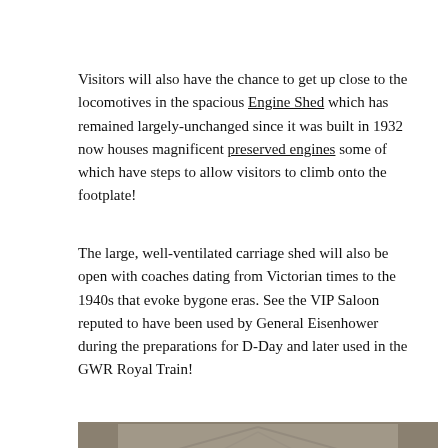Visitors will also have the chance to get up close to the locomotives in the spacious Engine Shed which has remained largely-unchanged since it was built in 1932 now houses magnificent preserved engines some of which have steps to allow visitors to climb onto the footplate!
The large, well-ventilated carriage shed will also be open with coaches dating from Victorian times to the 1940s that evoke bygone eras. See the VIP Saloon reputed to have been used by General Eisenhower during the preparations for D-Day and later used in the GWR Royal Train!
[Figure (photo): Interior of a large railway engine shed with steam locomotives on tracks, visitors walking on the platform, and a glass and steel roof structure overhead.]